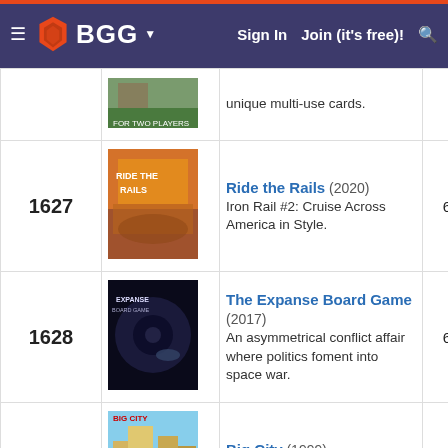BGG — Sign In   Join (it's free)!
| Rank | Image | Game | Score | Score2 |
| --- | --- | --- | --- | --- |
|  |  | unique multi-use cards. |  |  |
| 1627 |  | Ride the Rails (2020)
Iron Rail #2: Cruise Across America in Style. | 6.271 | 7.2 |
| 1628 |  | The Expanse Board Game (2017)
An asymmetrical conflict affair where politics foment into space war. | 6.271 | 7.1 |
| 1629 |  | Big City (1999)
Collect deeds to erect buildings in the city. | 6.270 | 6.8 |
| 1630 |  | Steam Time (2015)
Travel to past ages, search for crystals and use them to stay ahead. | 6.270 | 7.1 |